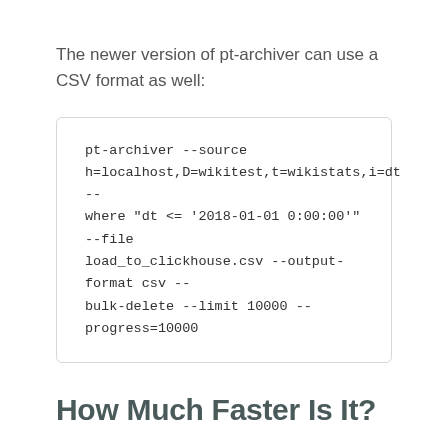The newer version of pt-archiver can use a CSV format as well:
pt-archiver --source h=localhost,D=wikitest,t=wikistats,i=dt --where "dt <= '2018-01-01 0:00:00'"  --file load_to_clickhouse.csv --output-format csv --bulk-delete --limit 10000 --progress=10000
How Much Faster Is It?
Actually, it is much faster in ClickHouse. Even the queries that are based on index scans can be much slower in MySQL compared to ClickHouse